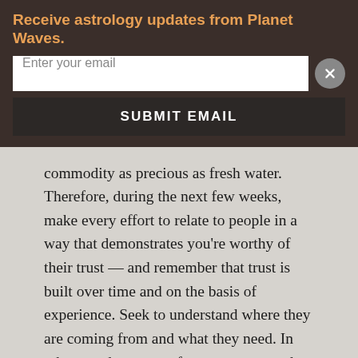Receive astrology updates from Planet Waves.
Enter your email
SUBMIT EMAIL
commodity as precious as fresh water. Therefore, during the next few weeks, make every effort to relate to people in a way that demonstrates you're worthy of their trust — and remember that trust is built over time and on the basis of experience. Seek to understand where they are coming from and what they need. In other words, go out of your way to evade the selfish tendencies that might come with Mars in your own sign. It's also essential to work for some consistency. Be aware that you might be projecting two different personalities or agendas, which could lead to